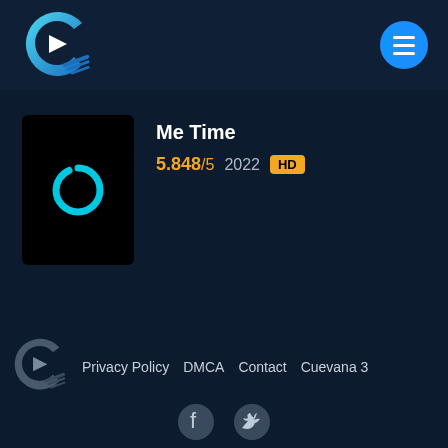[Figure (logo): Cuevana-style streaming site logo: stylized C with play button and film strip, blue gradient]
[Figure (other): Blue circular hamburger/menu button with three white horizontal lines]
[Figure (other): Movie thumbnail black card with cyan loading spinner (C shape)]
Me Time
5.848/5  2022  HD
[Figure (logo): Footer version of site logo: gray/muted C with play button and film strip]
Privacy Policy  DMCA  Contact  Cuevana 3
[Figure (other): Social media icons: Facebook and Twitter, partially visible at bottom]